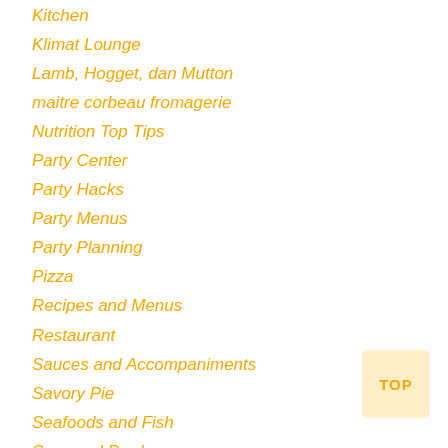Kitchen
Klimat Lounge
Lamb, Hogget, dan Mutton
maitre corbeau fromagerie
Nutrition Top Tips
Party Center
Party Hacks
Party Menus
Party Planning
Pizza
Recipes and Menus
Restaurant
Sauces and Accompaniments
Savory Pie
Seafoods and Fish
Seasonal Produse
Starters and Mains course
Street Food Popular
Tacos